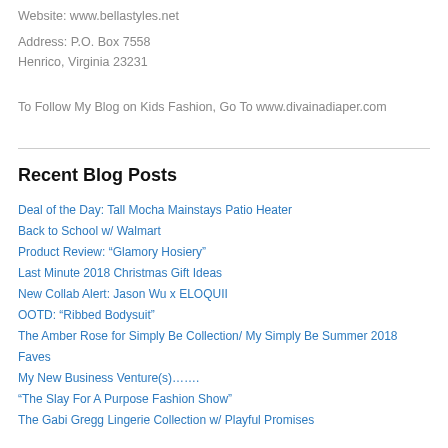Website: www.bellastyles.net
Address: P.O. Box 7558
Henrico, Virginia 23231
To Follow My Blog on Kids Fashion, Go To www.divainadiaper.com
Recent Blog Posts
Deal of the Day: Tall Mocha Mainstays Patio Heater
Back to School w/ Walmart
Product Review: “Glamory Hosiery”
Last Minute 2018 Christmas Gift Ideas
New Collab Alert: Jason Wu x ELOQUII
OOTD: “Ribbed Bodysuit”
The Amber Rose for Simply Be Collection/ My Simply Be Summer 2018 Faves
My New Business Venture(s)…….
“The Slay For A Purpose Fashion Show”
The Gabi Gregg Lingerie Collection w/ Playful Promises